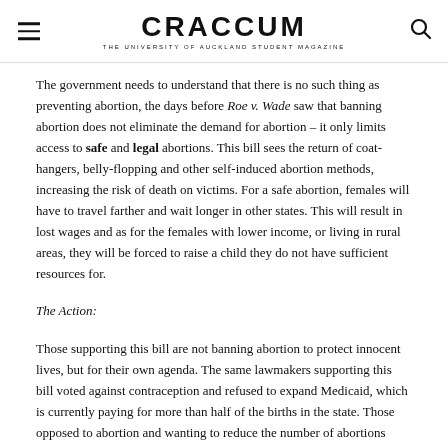CRACCUM — THE UNIVERSITY OF AUCKLAND STUDENT MAGAZINE
The government needs to understand that there is no such thing as preventing abortion, the days before Roe v. Wade saw that banning abortion does not eliminate the demand for abortion – it only limits access to safe and legal abortions. This bill sees the return of coat-hangers, belly-flopping and other self-induced abortion methods, increasing the risk of death on victims. For a safe abortion, females will have to travel farther and wait longer in other states. This will result in lost wages and as for the females with lower income, or living in rural areas, they will be forced to raise a child they do not have sufficient resources for.
The Action:
Those supporting this bill are not banning abortion to protect innocent lives, but for their own agenda. The same lawmakers supporting this bill voted against contraception and refused to expand Medicaid, which is currently paying for more than half of the births in the state. Those opposed to abortion and wanting to reduce the number of abortions should legislate to